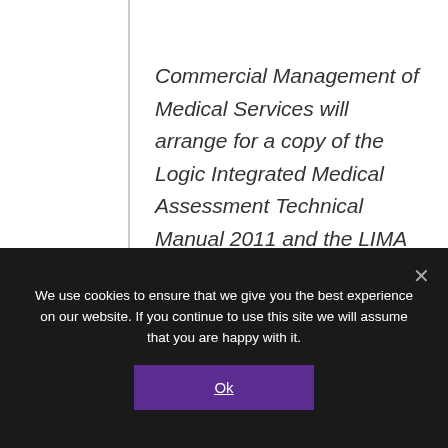Commercial Management of Medical Services will arrange for a copy of the Logic Integrated Medical Assessment Technical Manual 2011 and the LIMA software questionnaires which are contained in appendices 3 & 4 of the Employment and Support Allowance Handbook to be placed in the Library of the House.
We use cookies to ensure that we give you the best experience on our website. If you continue to use this site we will assume that you are happy with it.